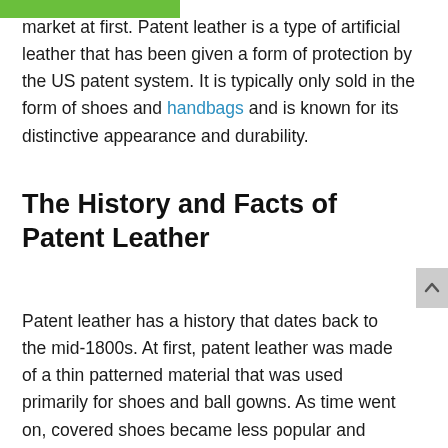market at first. Patent leather is a type of artificial leather that has been given a form of protection by the US patent system. It is typically only sold in the form of shoes and handbags and is known for its distinctive appearance and durability.
The History and Facts of Patent Leather
Patent leather has a history that dates back to the mid-1800s. At first, patent leather was made of a thin patterned material that was used primarily for shoes and ball gowns. As time went on, covered shoes became less popular and were replaced by more modern materials such as canvas and suede. Patent leather is now only produced in the